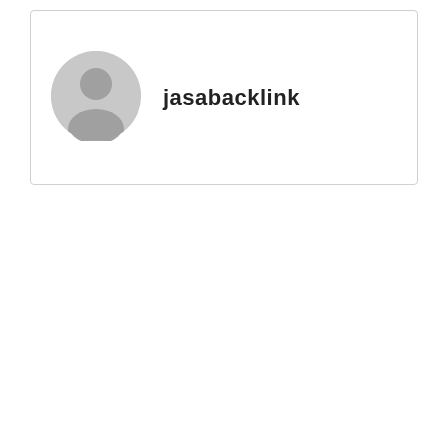[Figure (illustration): Gray default user avatar icon — a circle with a person silhouette (head and shoulders) in light gray]
jasabacklink